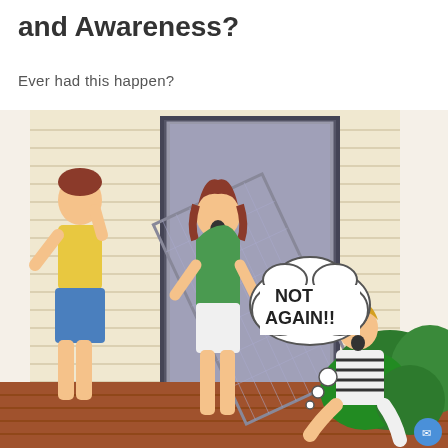and Awareness?
Ever had this happen?
[Figure (illustration): A cartoon illustration showing three people on a wooden deck outside a house. A woman in a green shirt and white shorts is accidentally knocking a screen door off its track, looking shocked. A man in a yellow polo shirt and blue shorts stands to the left looking concerned, touching his head. A woman in a striped shirt sits on the right side looking up with a thought bubble saying 'NOT AGAIN!!']